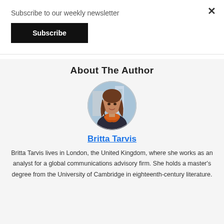Subscribe to our weekly newsletter
Subscribe
About The Author
[Figure (photo): Circular portrait photo of Britta Tarvis, a woman with long brown hair wearing an orange scarf, photographed outdoors in an urban setting.]
Britta Tarvis
Britta Tarvis lives in London, the United Kingdom, where she works as an analyst for a global communications advisory firm. She holds a master’s degree from the University of Cambridge in eighteenth-century literature.